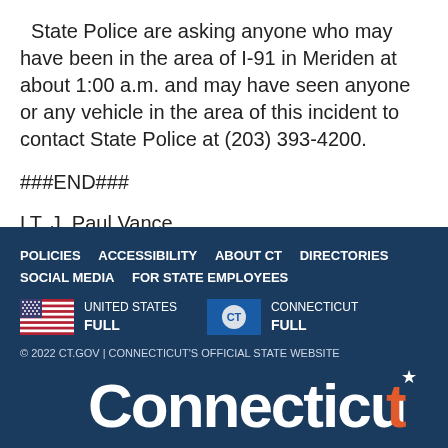State Police are asking anyone who may have been in the area of I-91 in Meriden at about 1:00 a.m. and may have seen anyone or any vehicle in the area of this incident to contact State Police at (203) 393-4200.
###END###
LT. J. Paul Vance
POLICIES  ACCESSIBILITY  ABOUT CT  DIRECTORIES  SOCIAL MEDIA  FOR STATE EMPLOYEES
UNITED STATES FULL
CONNECTICUT FULL
© 2022 CT.GOV | CONNECTICUT'S OFFICIAL STATE WEBSITE
Connecticut